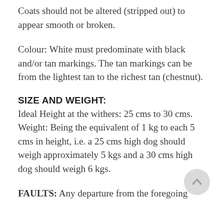Coats should not be altered (stripped out) to appear smooth or broken.
Colour: White must predominate with black and/or tan markings. The tan markings can be from the lightest tan to the richest tan (chestnut).
SIZE AND WEIGHT:
Ideal Height at the withers: 25 cms to 30 cms. Weight: Being the equivalent of 1 kg to each 5 cms in height, i.e. a 25 cms high dog should weigh approximately 5 kgs and a 30 cms high dog should weigh 6 kgs.
FAULTS: Any departure from the foregoing